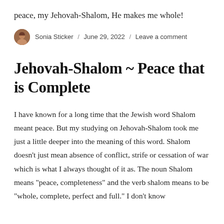peace, my Jehovah-Shalom, He makes me whole!
Sonia Sticker / June 29, 2022 / Leave a comment
Jehovah-Shalom ~ Peace that is Complete
I have known for a long time that the Jewish word Shalom meant peace. But my studying on Jehovah-Shalom took me just a little deeper into the meaning of this word. Shalom doesn’t just mean absence of conflict, strife or cessation of war which is what I always thought of it as. The noun Shalom means “peace, completeness” and the verb shalom means to be “whole, complete, perfect and full.” I don’t know